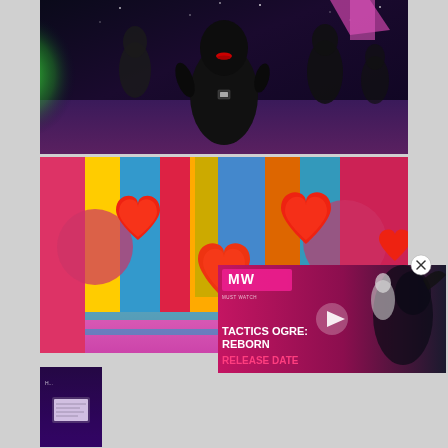[Figure (screenshot): Dark neon-lit 3D scene with a large black penguin-like figure with red lips, green glow on left side, purple/blue background with stars, other dark figures in background]
[Figure (screenshot): Colorful 3D game scene with multiple red heart shapes floating in a corridor with multicolored striped walls (teal, yellow, magenta, blue, red), pink floor]
[Figure (screenshot): Small thumbnail of a dark scene with a glowing white board/screen, purple lighting]
[Figure (infographic): Video ad overlay: MW (Must Watch) logo, play button, text 'TACTICS OGRE: REBORN RELEASE DATE' with pink/red gradient background, fantasy game characters on right side]